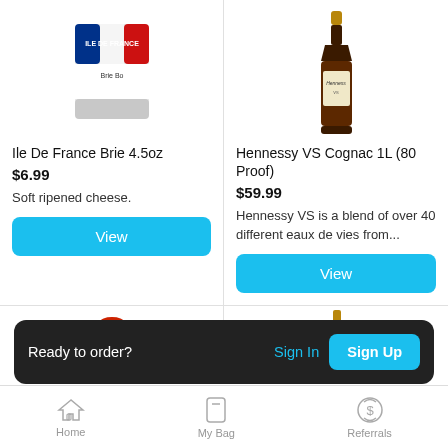[Figure (photo): Ile De France Brie cheese bag product image - blue, white and red French flag themed packaging]
[Figure (photo): Hennessy VS Cognac 1L bottle product image - dark brown bottle with gold cap and cream label]
Ile De France Brie 4.5oz
Hennessy VS Cognac 1L (80 Proof)
$6.99
$59.99
Soft ripened cheese.
Hennessy VS is a blend of over 40 different eaux de vies from...
View
View
[Figure (photo): Partial product image bottom left - red can top visible]
[Figure (photo): Partial product image bottom right - bottle neck visible]
Ready to order?
Sign In
Sign Up
Home
My Bag
Referrals